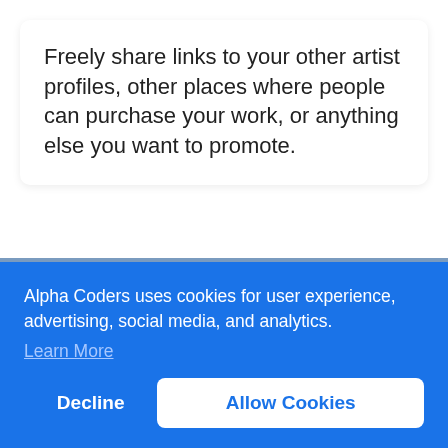Freely share links to your other artist profiles, other places where people can purchase your work, or anything else you want to promote.
For Content Fans
We fully support fan submissions. We have a massive community dedicated
Alpha Coders uses cookies for user experience, advertising, social media, and analytics.
Learn More
Decline
Allow Cookies